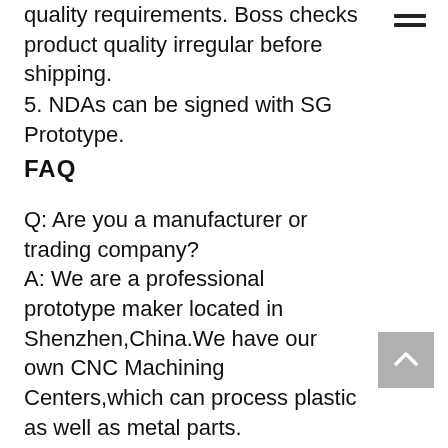quality requirements. Boss checks product quality irregular before shipping.
5. NDAs can be signed with SG Prototype.
FAQ
Q: Are you a manufacturer or trading company?
A: We are a professional prototype maker located in Shenzhen,China.We have our own CNC Machining Centers,which can process plastic as well as metal parts.